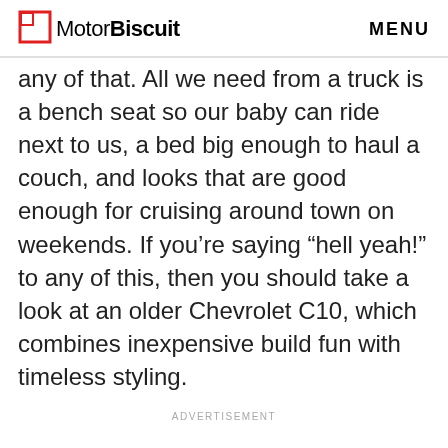MotorBiscuit MENU
any of that. All we need from a truck is a bench seat so our baby can ride next to us, a bed big enough to haul a couch, and looks that are good enough for cruising around town on weekends. If you’re saying “hell yeah!” to any of this, then you should take a look at an older Chevrolet C10, which combines inexpensive build fun with timeless styling.
ADVERTISEMENT